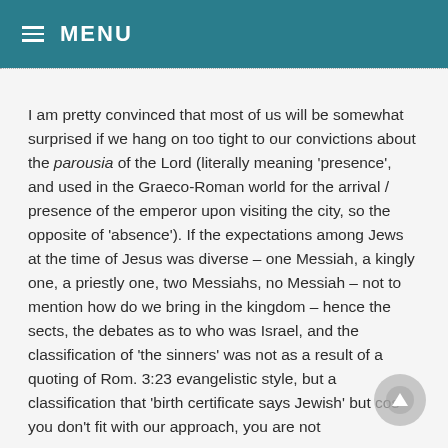≡ MENU
I am pretty convinced that most of us will be somewhat surprised if we hang on too tight to our convictions about the parousia of the Lord (literally meaning 'presence', and used in the Graeco-Roman world for the arrival / presence of the emperor upon visiting the city, so the opposite of 'absence'). If the expectations among Jews at the time of Jesus was diverse – one Messiah, a kingly one, a priestly one, two Messiahs, no Messiah – not to mention how do we bring in the kingdom – hence the sects, the debates as to who was Israel, and the classification of 'the sinners' was not as a result of a quoting of Rom. 3:23 evangelistic style, but a classification that 'birth certificate says Jewish' but cos you don't fit with our approach, you are not